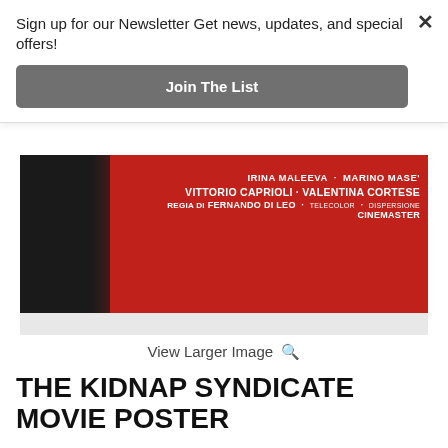Sign up for our Newsletter Get news, updates, and special offers!
Join The List
[Figure (photo): Movie poster for The Kidnap Syndicate (1975) featuring credits: IRINA MALEEVA · MARINO MASE' VITTORIO CAPRIOLI · VALENTINA CORTESE FERNANDO DI LEO · TELECOLOR · CINEMASTER. Red background with a dark figure on the left.]
View Larger Image 🔍
THE KIDNAP SYNDICATE MOVIE POSTER
Cinemaster S.r.l., 1975
$150.00   ADD TO CART